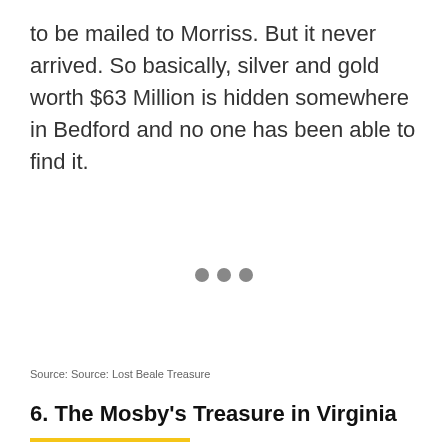to be mailed to Morriss. But it never arrived. So basically, silver and gold worth $63 Million is hidden somewhere in Bedford and no one has been able to find it.
• • •
Source: Source: Lost Beale Treasure
6. The Mosby's Treasure in Virginia